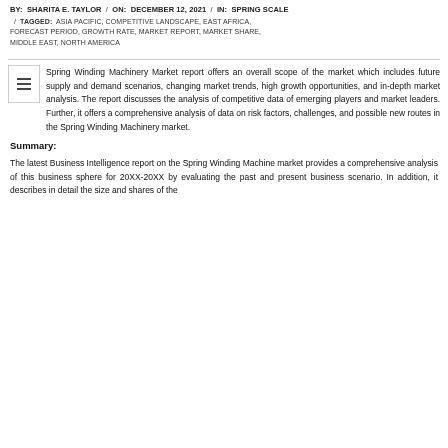BY: SHARITA E. TAYLOR / ON: DECEMBER 12, 2021 / IN: SPRING SCALE / TAGGED: ASIA PACIFIC, COMPETITIVE LANDSCAPE, EAST AFRICA, FORECAST PERIOD, GROWTH RATE, MARKET REPORT, MARKET SHARE, MIDDLE EAST, NORTH AMERICA
Spring Winding Machinery Market report offers an overall scope of the market which includes future supply and demand scenarios, changing market trends, high growth opportunities, and in-depth market analysis. The report discusses the analysis of competitive data of emerging players and market leaders. Further, it offers a comprehensive analysis of data on risk factors, challenges, and possible new routes in the Spring Winding Machinery market.
Summary:
The latest Business Intelligence report on the Spring Winding Machine market provides a comprehensive analysis of this business sphere for 20XX-20XX by evaluating the past and present business scenario. In addition, it describes in detail the size and shares of the